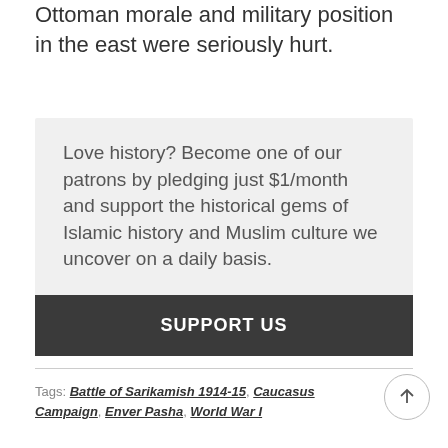Ottoman morale and military position in the east were seriously hurt.
Love history? Become one of our patrons by pledging just $1/month and support the historical gems of Islamic history and Muslim culture we uncover on a daily basis.
SUPPORT US
Tags: Battle of Sarikamish 1914-15, Caucasus Campaign, Enver Pasha, World War I